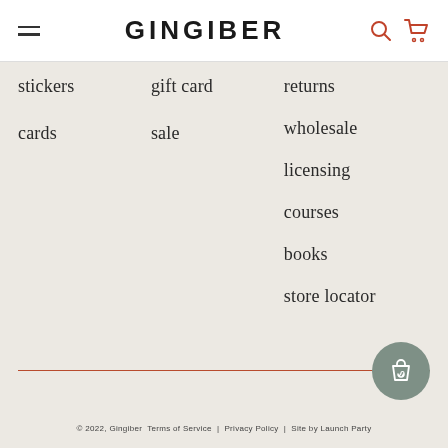GINGIBER
stickers
cards
gift card
sale
returns
wholesale
licensing
courses
books
store locator
© 2022, Gingiber  Terms of Service  |  Privacy Policy  |  Site by Launch Party